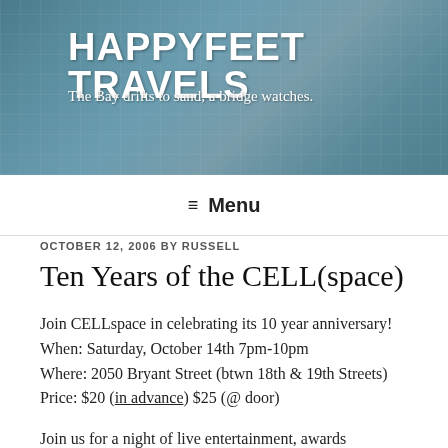HAPPYFEET TRAVELS
The Bay drifts to sand, a bridge watches.
≡ Menu
OCTOBER 12, 2006 BY RUSSELL
Ten Years of the CELL(space)
Join CELLspace in celebrating its 10 year anniversary!
When: Saturday, October 14th 7pm-10pm
Where: 2050 Bryant Street (btwn 18th & 19th Streets)
Price: $20 (in advance) $25 (@ door)
Join us for a night of live entertainment, awards ceremony, silent auction, craft making, youth performances, special quest speakers, Horsâ€™